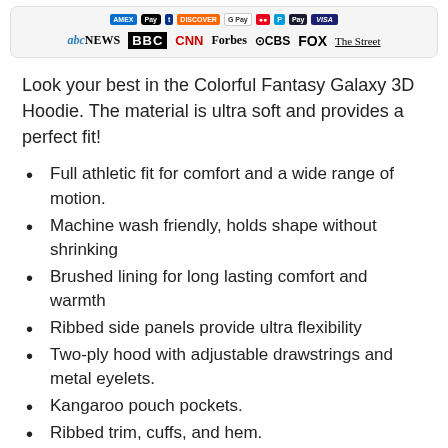[Figure (logo): Payment method logos (Amex, Apple Pay, Discover, Google Pay, Mastercard, PayPal, Samsung Pay, Visa) and media brand logos (ABC News, BBC, CNN, Forbes, CBS, FOX, The Street) in a light grey banner]
Look your best in the Colorful Fantasy Galaxy 3D Hoodie. The material is ultra soft and provides a perfect fit!
Full athletic fit for comfort and a wide range of motion.
Machine wash friendly, holds shape without shrinking
Brushed lining for long lasting comfort and warmth
Ribbed side panels provide ultra flexibility
Two-ply hood with adjustable drawstrings and metal eyelets.
Kangaroo pouch pockets.
Ribbed trim, cuffs, and hem.